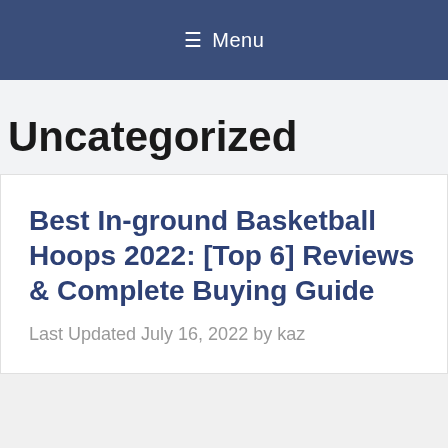☰ Menu
Uncategorized
Best In-ground Basketball Hoops 2022: [Top 6] Reviews & Complete Buying Guide
Last Updated July 16, 2022 by kaz